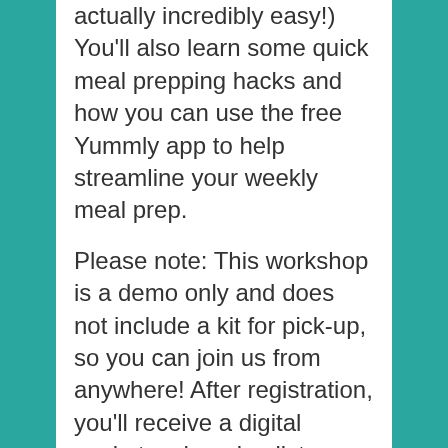actually incredibly easy!) You'll also learn some quick meal prepping hacks and how you can use the free Yummly app to help streamline your weekly meal prep.
Please note: This workshop is a demo only and does not include a kit for pick-up, so you can join us from anywhere! After registration, you'll receive a digital packet – shopping list, equipment list, recipe and any prep ahead steps. For this workshop, you'll do all the prep